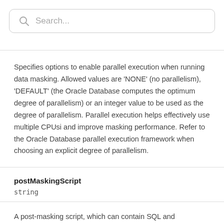[Figure (screenshot): Search bar with magnifying glass icon and placeholder text 'Search...']
Specifies options to enable parallel execution when running data masking. Allowed values are 'NONE' (no parallelism), 'DEFAULT' (the Oracle Database computes the optimum degree of parallelism) or an integer value to be used as the degree of parallelism. Parallel execution helps effectively use multiple CPUsi and improve masking performance. Refer to the Oracle Database parallel execution framework when choosing an explicit degree of parallelism.
postMaskingScript
string
A post-masking script, which can contain SQL and